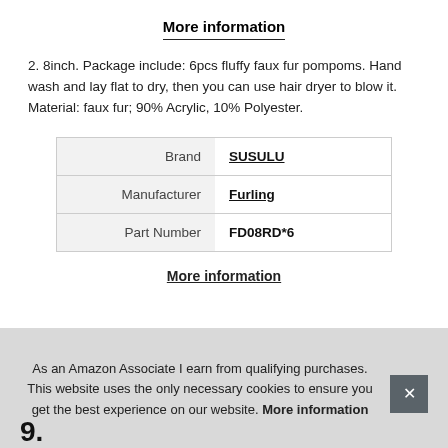More information
2. 8inch. Package include: 6pcs fluffy faux fur pompoms. Hand wash and lay flat to dry, then you can use hair dryer to blow it. Material: faux fur; 90% Acrylic, 10% Polyester.
|  |  |
| --- | --- |
| Brand | SUSULU |
| Manufacturer | Furling |
| Part Number | FD08RD*6 |
More information
As an Amazon Associate I earn from qualifying purchases. This website uses the only necessary cookies to ensure you get the best experience on our website. More information
9.